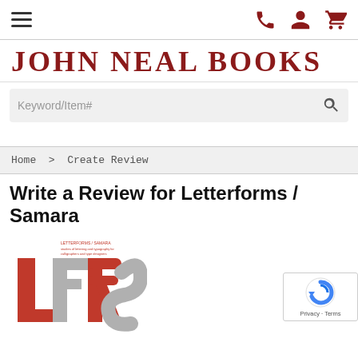John Neal Books — navigation bar with hamburger menu and icons (phone, user, cart)
JOHN NEAL BOOKS
Keyword/Item# [search field]
Home > Create Review
Write a Review for Letterforms / Samara
[Figure (photo): Book cover for Letterforms / Samara showing large stylized letters L, F, R, S in red and gray on white background, with small red title text at top]
[Figure (other): Google reCAPTCHA badge showing the reCAPTCHA logo (arrow circle), Privacy and Terms links]